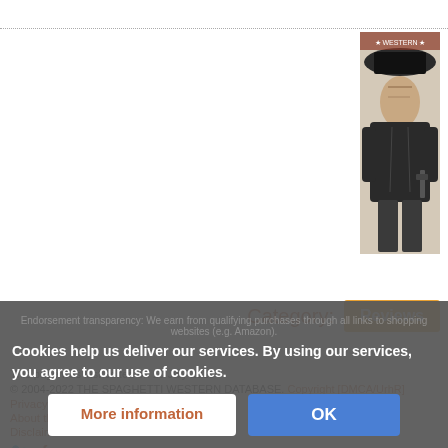[Figure (illustration): Black and white illustration of a Western character, appears to be a man with a cowboy hat holding a gun, in a graphic novel style]
Category: Reviews
This page was last edited on 19 July 2015
© 2004-2022 THE SPAGHETTI WESTERN DATABASE. Copyright [DMCA/UrhR]
Privacy policy
About the SWDb
Disclaimers
Cookies help us deliver our services. By using our services, you agree to our use of cookies.
More information
OK